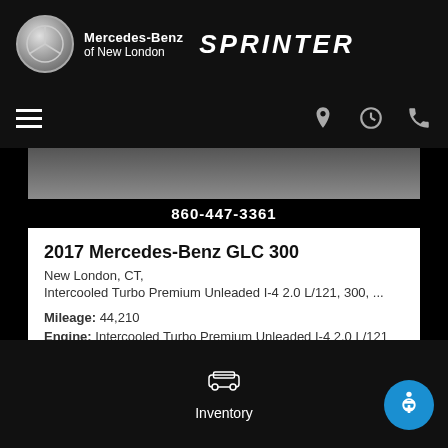[Figure (logo): Mercedes-Benz of New London dealership header with Mercedes star logo, dealer name, and Sprinter logo]
[Figure (screenshot): Navigation bar with hamburger menu and location/time/phone icons]
[Figure (photo): Partial car image with phone number 860-447-3361 banner at bottom]
2017 Mercedes-Benz GLC 300
New London, CT,
Intercooled Turbo Premium Unleaded I-4 2.0 L/121, 300, ...
Mileage: 44,210
Engine: Intercooled Turbo Premium Unleaded I-4 2.0 L/121
Transmission Description: 9-Speed Automatic w/OD
Fuel Economy: 21/28
[Figure (screenshot): Bottom navigation bar with car/Inventory icon and accessibility button]